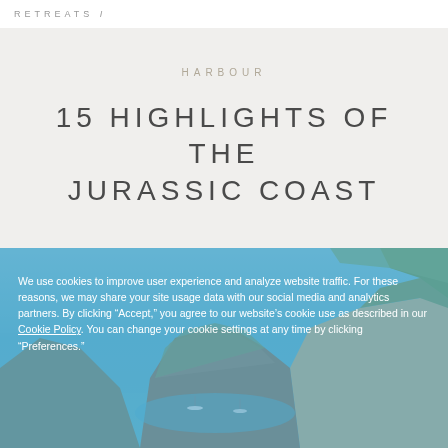RETREATS i
HARBOUR
15 HIGHLIGHTS OF THE JURASSIC COAST
[Figure (photo): Coastal landscape photo showing rocky headland cliffs, turquoise sea, green hills, and sailing boats in a bay — Jurassic Coast, UK]
We use cookies to improve user experience and analyze website traffic. For these reasons, we may share your site usage data with our social media and analytics partners. By clicking “Accept,” you agree to our website’s cookie use as described in our Cookie Policy. You can change your cookie settings at any time by clicking “Preferences.”